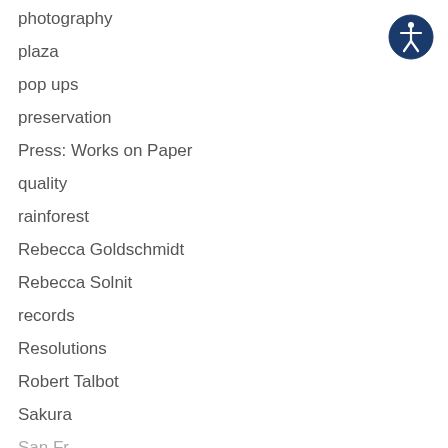photography
plaza
pop ups
preservation
Press: Works on Paper
quality
rainforest
Rebecca Goldschmidt
Rebecca Solnit
records
Resolutions
Robert Talbot
Sakura
[Figure (logo): Accessibility icon: white person figure in a circle on dark blue background]